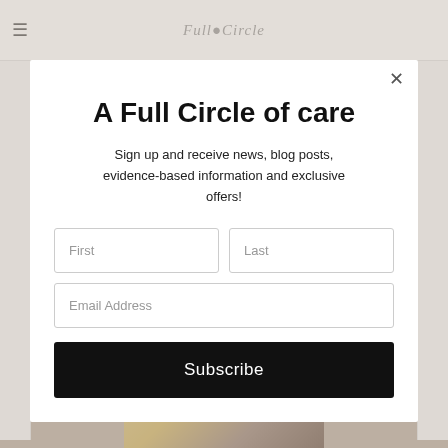Full Circle
A Full Circle of care
Sign up and receive news, blog posts, evidence-based information and exclusive offers!
[Figure (screenshot): Newsletter signup modal with First, Last, Email Address input fields and a Subscribe button on a website for Full Circle]